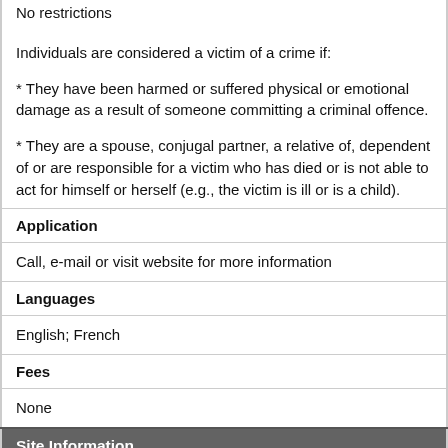No restrictions
Individuals are considered a victim of a crime if:
* They have been harmed or suffered physical or emotional damage as a result of someone committing a criminal offence.
* They are a spouse, conjugal partner, a relative of, dependent of or are responsible for a victim who has died or is not able to act for himself or herself (e.g., the victim is ill or is a child).
| Application |
| Call, e-mail or visit website for more information |
| Languages |
| English; French |
| Fees |
| None |
| Site Information |
| Located In Community |
| Ottawa |
| Address & Map |